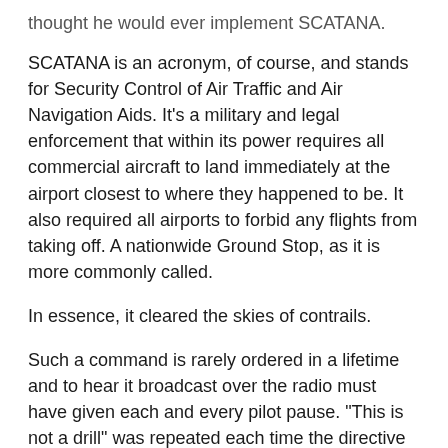thought he would ever implement SCATANA.
SCATANA is an acronym, of course, and stands for Security Control of Air Traffic and Air Navigation Aids. It’s a military and legal enforcement that within its power requires all commercial aircraft to land immediately at the airport closest to where they happened to be. It also required all airports to forbid any flights from taking off. A nationwide Ground Stop, as it is more commonly called.
In essence, it cleared the skies of contrails.
Such a command is rarely ordered in a lifetime and to hear it broadcast over the radio must have given each and every pilot pause. “This is not a drill” was repeated each time the directive was announced.
This is not a drill! This is not a drill!
Within minutes the nearly 5,000 commercial flights in the air began diverting to the nearest and safest place to land. “It was obeyed, masterfully,” Winchester laments, adding, “Every pilot appeared to cooperate; none of significance